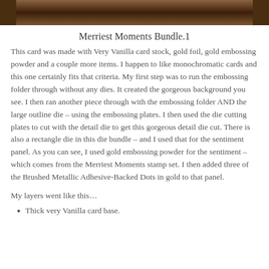[Figure (photo): Cropped top portion of a card craft photo with dark brown background]
Merriest Moments Bundle.1
This card was made with Very Vanilla card stock, gold foil, gold embossing powder and a couple more items. I happen to like monochromatic cards and this one certainly fits that criteria. My first step was to run the embossing folder through without any dies. It created the gorgeous background you see. I then ran another piece through with the embossing folder AND the large outline die – using the embossing plates. I then used the die cutting plates to cut with the detail die to get this gorgeous detail die cut. There is also a rectangle die in this die bundle – and I used that for the sentiment panel. As you can see, I used gold embossing powder for the sentiment – which comes from the Merriest Moments stamp set. I then added three of the Brushed Metallic Adhesive-Backed Dots in gold to that panel.
My layers went like this…
Thick very Vanilla card base.